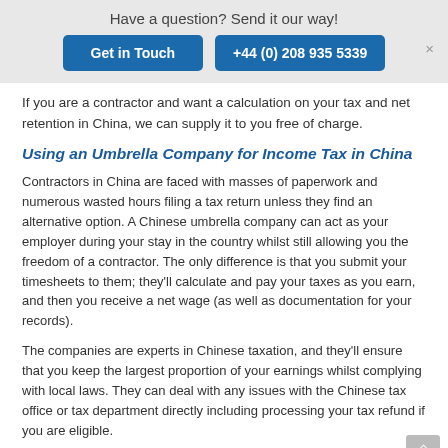Have a question? Send it our way!
Get in Touch
+44 (0) 208 935 5339
If you are a contractor and want a calculation on your tax and net retention in China, we can supply it to you free of charge.
Using an Umbrella Company for Income Tax in China
Contractors in China are faced with masses of paperwork and numerous wasted hours filing a tax return unless they find an alternative option. A Chinese umbrella company can act as your employer during your stay in the country whilst still allowing you the freedom of a contractor. The only difference is that you submit your timesheets to them; they'll calculate and pay your taxes as you earn, and then you receive a net wage (as well as documentation for your records).
The companies are experts in Chinese taxation, and they'll ensure that you keep the largest proportion of your earnings whilst complying with local laws. They can deal with any issues with the Chinese tax office or tax department directly including processing your tax refund if you are eligible.
How We Can Help You with Tax in China